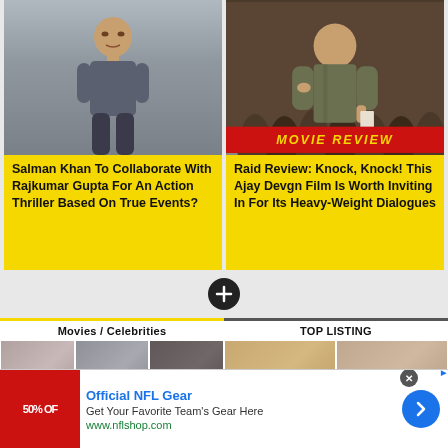[Figure (photo): Photo of Salman Khan in grey t-shirt against white wall background]
Salman Khan To Collaborate With Rajkumar Gupta For An Action Thriller Based On True Events?
[Figure (photo): Movie Review promotional image for Raid featuring Ajay Devgn with MOVIE REVIEW banner]
Raid Review: Knock, Knock! This Ajay Devgn Film Is Worth Inviting In For Its Heavy-Weight Dialogues
Movies / Celebrities
TOP LISTING
[Figure (photo): Advertisement: Official NFL Gear - 50% OFF banner]
Official NFL Gear
Get Your Favorite Team's Gear Here
www.nflshop.com